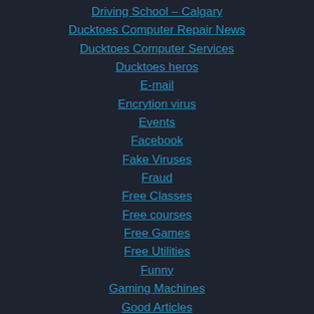Driving School – Calgary
Ducktoes Computer Repair News
Ducktoes Computer Services
Ducktoes heros
E-mail
Encrytion virus
Events
Facebook
Fake Viruses
Fraud
Free Classes
Free courses
Free Games
Free Utilities
Funny
Gaming Machines
Good Articles
Google Chrome